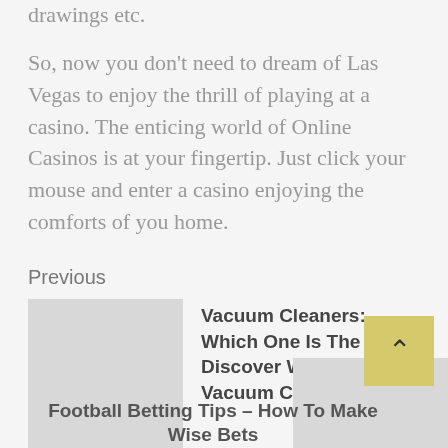drawings etc.
So, now you don't need to dream of Las Vegas to enjoy the thrill of playing at a casino. The enticing world of Online Casinos is at your fingertip. Just click your mouse and enter a casino enjoying the comforts of you home.
Previous
[Figure (photo): Thumbnail image placeholder for previous article]
Vacuum Cleaners: Which One Is The Best? Discover Which Vacuum Cleaner To Buy
[Figure (photo): Thumbnail image placeholder for next article]
Football Betting Tips – How To Make Wise Bets